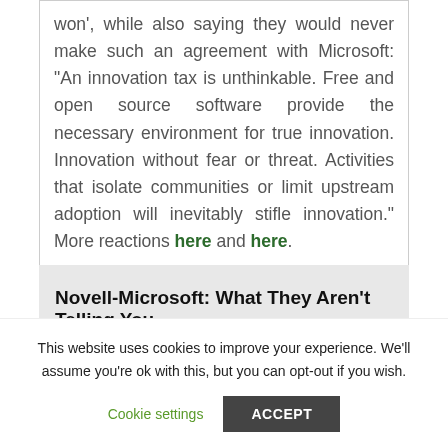won', while also saying they would never make such an agreement with Microsoft: "An innovation tax is unthinkable. Free and open source software provide the necessary environment for true innovation. Innovation without fear or threat. Activities that isolate communities or limit upstream adoption will inevitably stifle innovation." More reactions here and here.
Novell-Microsoft: What They Aren't Telling You
This website uses cookies to improve your experience. We'll assume you're ok with this, but you can opt-out if you wish.